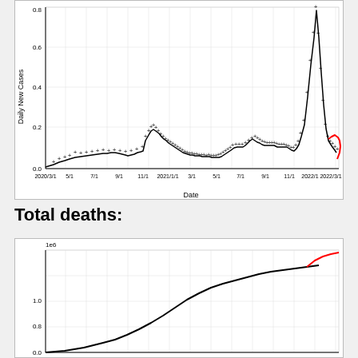[Figure (continuous-plot): Time series of US daily new COVID-19 cases from 2020/3/1 to 2022/3/1, showing actual data (+ markers), 7-day average (black line), projection (red dot), and 95% confidence interval (red line). Multiple waves visible with a large peak around 2022/1/1.]
Total deaths:
[Figure (continuous-plot): Time series of US total COVID-19 deaths (in millions, 1e6 scale) from approximately 2020 to 2022, showing cumulative deaths rising from 0 to about 1.0–1.1 million. Black line shows historical data, red line shows projection.]